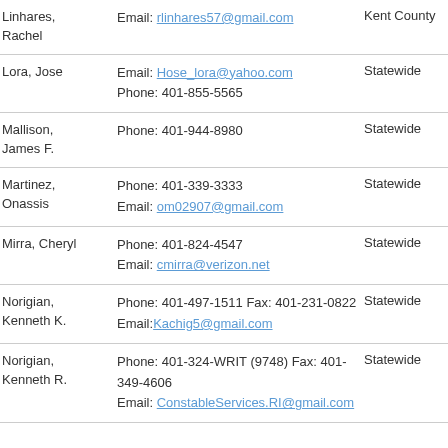Linhares, Rachel | Email: rlinhares57@gmail.com | Kent County
Lora, Jose | Email: Hose_lora@yahoo.com | Phone: 401-855-5565 | Statewide
Mallison, James F. | Phone: 401-944-8980 | Statewide
Martinez, Onassis | Phone: 401-339-3333 | Email: om02907@gmail.com | Statewide
Mirra, Cheryl | Phone: 401-824-4547 | Email: cmirra@verizon.net | Statewide
Norigian, Kenneth K. | Phone: 401-497-1511 Fax: 401-231-0822 | Email: Kachig5@gmail.com | Statewide
Norigian, Kenneth R. | Phone: 401-324-WRIT (9748) Fax: 401-349-4606 | Email: ConstableServices.RI@gmail.com | Statewide